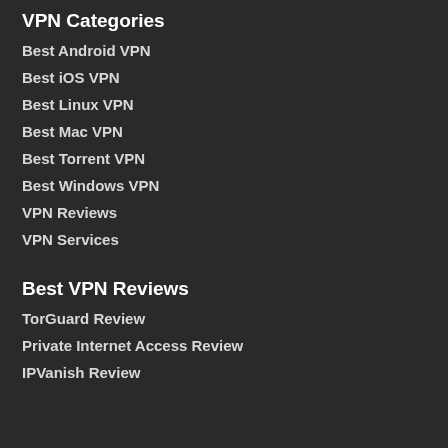VPN Categories
Best Android VPN
Best iOS VPN
Best Linux VPN
Best Mac VPN
Best Torrent VPN
Best Windows VPN
VPN Reviews
VPN Services
Best VPN Reviews
TorGuard Review
Private Internet Access Review
IPVanish Review